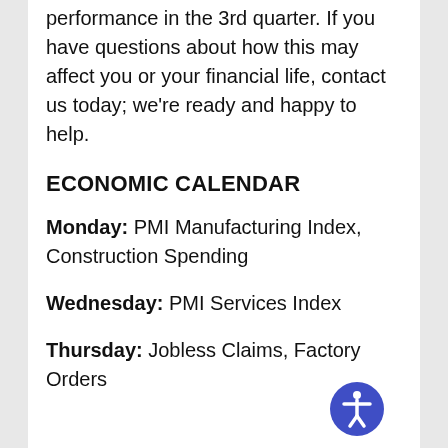performance in the 3rd quarter. If you have questions about how this may affect you or your financial life, contact us today; we're ready and happy to help.
ECONOMIC CALENDAR
Monday: PMI Manufacturing Index, Construction Spending
Wednesday: PMI Services Index
Thursday: Jobless Claims, Factory Orders